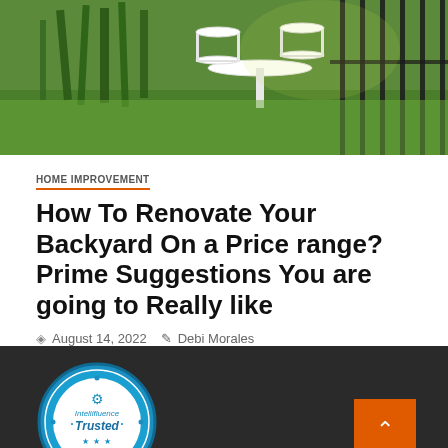[Figure (photo): Outdoor garden photo showing a white ornate metal table and chairs set on green grass, with tall green plants in the background and a black metal fence.]
HOME IMPROVEMENT
How To Renovate Your Backyard On a Price range? Prime Suggestions You are going to Really like
August 14, 2022   Debi Morales
[Figure (logo): Intellifluence Trusted Blogger badge — circular blue badge with gold ribbon banner at bottom reading BLOGGER]
[Figure (other): Orange scroll-to-top button with white upward chevron arrow]